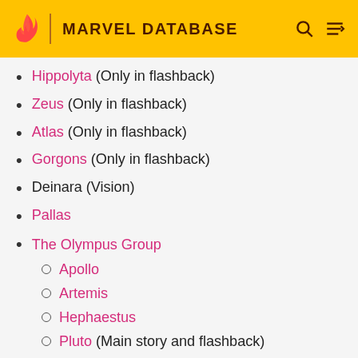MARVEL DATABASE
Hippolyta (Only in flashback)
Zeus (Only in flashback)
Atlas (Only in flashback)
Gorgons (Only in flashback)
Deinara (Vision)
Pallas
The Olympus Group
Apollo
Artemis
Hephaestus
Pluto (Main story and flashback)
Hera
Typhon
Hebe